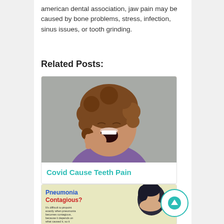american dental association, jaw pain may be caused by bone problems, stress, infection, sinus issues, or tooth grinding.
Related Posts:
[Figure (photo): Woman with curly hair holding jaw in pain, mouth open]
Covid Cause Teeth Pain
[Figure (infographic): Pneumonia Contagious? infographic with woman coughing into hands]